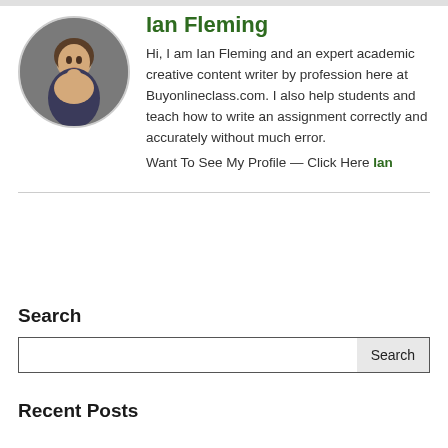[Figure (photo): Circular profile photo of Ian Fleming, a man with dark hair, looking at the camera]
Ian Fleming
Hi, I am Ian Fleming and an expert academic creative content writer by profession here at Buyonlineclass.com. I also help students and teach how to write an assignment correctly and accurately without much error.
Want To See My Profile — Click Here Ian
Search
Recent Posts